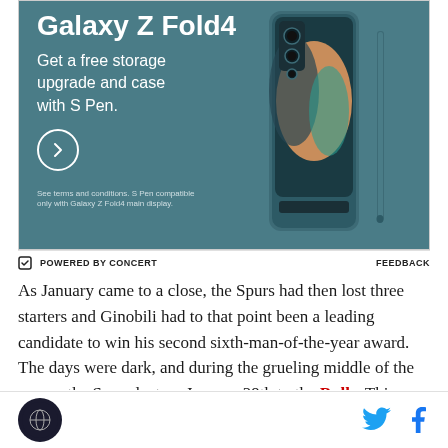[Figure (photo): Samsung Galaxy Z Fold4 advertisement. Teal/dark green background. Text reads 'Galaxy Z Fold4 - Get a free storage upgrade and case with S Pen.' with a circular arrow button. Shows a Samsung Galaxy Z Fold4 phone with S Pen case in teal color. Fine print: 'See terms and conditions. S Pen compatible only with Galaxy Z Fold4 main display.']
POWERED BY CONCERT    FEEDBACK
As January came to a close, the Spurs had then lost three starters and Ginobili had to that point been a leading candidate to win his second sixth-man-of-the-year award. The days were dark, and during the grueling middle of the season the Spurs lost on January 29th to the Bulls. This was the fifth loss for